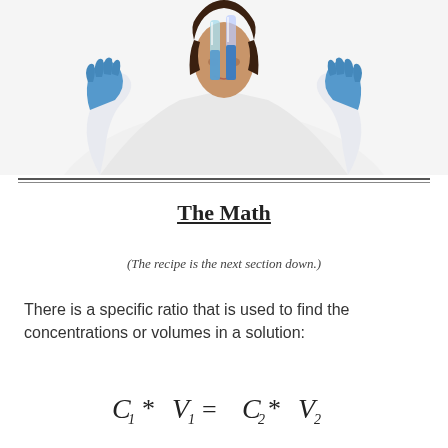[Figure (photo): A female scientist in a white lab coat and blue gloves holding test tubes up to examine them, viewed from below]
The Math
(The recipe is the next section down.)
There is a specific ratio that is used to find the concentrations or volumes in a solution: